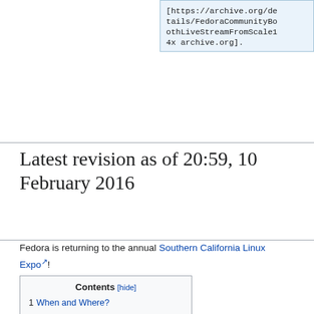[https://archive.org/details/FedoraCommunityBoothLiveStreamFromScale14x archive.org].
Latest revision as of 20:59, 10 February 2016
Fedora is returning to the annual Southern California Linux Expo!
1 When and Where?
2 Registration
3 Activities
3.1 Speakers
3.2 Booth
3.3 Fedora Activity Day
4 Fedora Volunteers
5 Budget